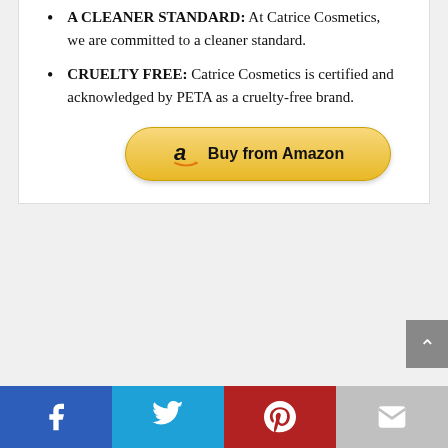A CLEANER STANDARD: At Catrice Cosmetics, we are committed to a cleaner standard.
CRUELTY FREE: Catrice Cosmetics is certified and acknowledged by PETA as a cruelty-free brand.
[Figure (other): Amazon Buy from Amazon button with gradient yellow background and rounded pill shape]
[Figure (other): Scroll to top button, grey square with upward arrow, positioned at right edge]
Social share bar with Facebook, Twitter, Pinterest, and Email icons